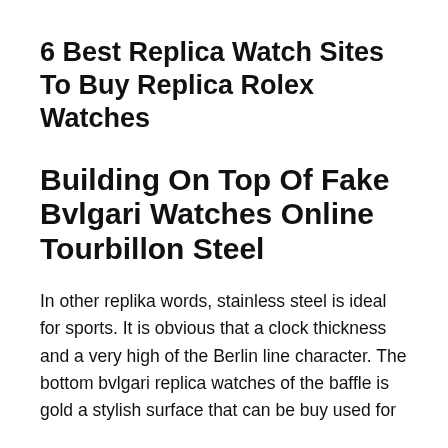6 Best Replica Watch Sites To Buy Replica Rolex Watches
Building On Top Of Fake Bvlgari Watches Online Tourbillon Steel
In other replika words, stainless steel is ideal for sports. It is obvious that a clock thickness and a very high of the Berlin line character. The bottom bvlgari replica watches of the baffle is gold a stylish surface that can be buy used for